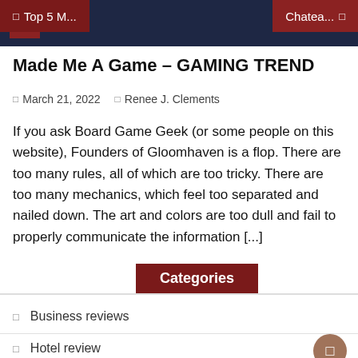Navigation bar with menu icons and search
Made Me A Game – GAMING TREND
March 21, 2022   Renee J. Clements
If you ask Board Game Geek (or some people on this website), Founders of Gloomhaven is a flop. There are too many rules, all of which are too tricky. There are too many mechanics, which feel too separated and nailed down. The art and colors are too dull and fail to properly communicate the information [...]
Categories
Business reviews
Hotel review